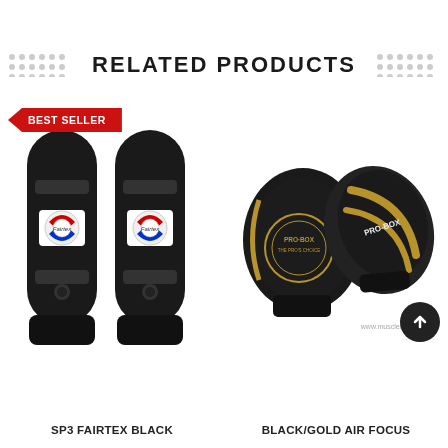RELATED PRODUCTS
[Figure (photo): Two black Fairtex SP3 shin guards standing upright with Fairtex logo patches, with a red 'BEST SELLER' banner in the top left corner]
[Figure (photo): Two black and gold Pro-Box focus mitts/pads, one showing the front face and one showing the back, with Pro-Box logo text]
SP3 FAIRTEX BLACK
BLACK/GOLD AIR FOCUS